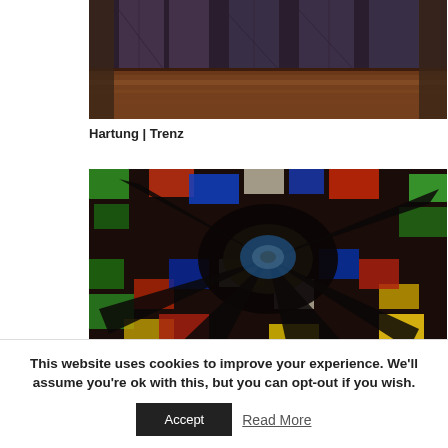[Figure (photo): Dark interior scene showing what appears to be a flooded or wet church/building floor with ornate windows in the background and reddish-brown tones.]
Hartung | Trenz
[Figure (photo): Colorful abstract or artistic photograph showing vibrant colored tiles or stained glass pattern in greens, reds, yellows, blues, and blacks with a radial or swirling composition.]
This website uses cookies to improve your experience. We'll assume you're ok with this, but you can opt-out if you wish.
Accept
Read More